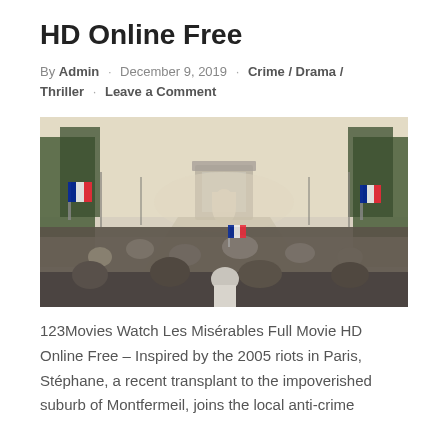HD Online Free
By Admin · December 9, 2019 · Crime / Drama / Thriller · Leave a Comment
[Figure (photo): A large crowd on the Champs-Élysées in Paris with the Arc de Triomphe visible in the background, people waving French flags.]
123Movies Watch Les Misérables Full Movie HD Online Free – Inspired by the 2005 riots in Paris, Stéphane, a recent transplant to the impoverished suburb of Montfermeil, joins the local anti-crime